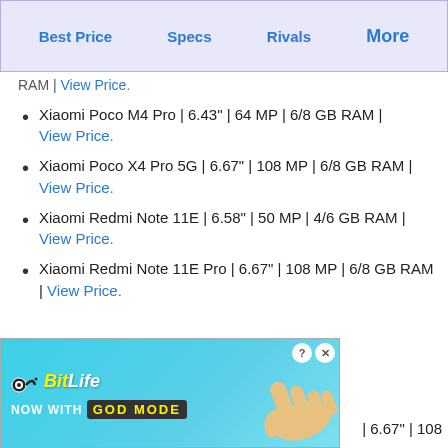Best Price | Specs | Rivals | More
RAM | View Price.
Xiaomi Poco M4 Pro | 6.43" | 64 MP | 6/8 GB RAM | View Price.
Xiaomi Poco X4 Pro 5G | 6.67" | 108 MP | 6/8 GB RAM | View Price.
Xiaomi Redmi Note 11E | 6.58" | 50 MP | 4/6 GB RAM | View Price.
Xiaomi Redmi Note 11E Pro | 6.67" | 108 MP | 6/8 GB RAM | View Price.
[Figure (screenshot): BitLife NOW WITH GOD MODE advertisement banner]
| 6.67" | 108